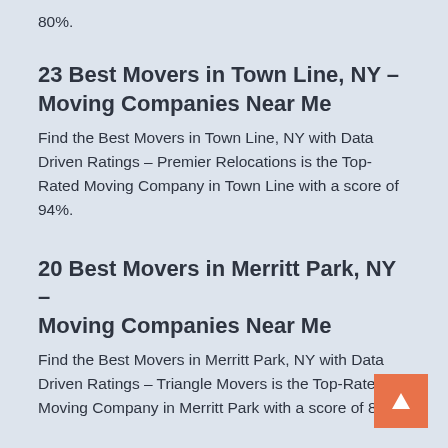80%.
23 Best Movers in Town Line, NY – Moving Companies Near Me
Find the Best Movers in Town Line, NY with Data Driven Ratings – Premier Relocations is the Top-Rated Moving Company in Town Line with a score of 94%.
20 Best Movers in Merritt Park, NY – Moving Companies Near Me
Find the Best Movers in Merritt Park, NY with Data Driven Ratings – Triangle Movers is the Top-Rated Moving Company in Merritt Park with a score of 83%.
[Figure (other): Back to top button — orange square with white upward-pointing triangle arrow]